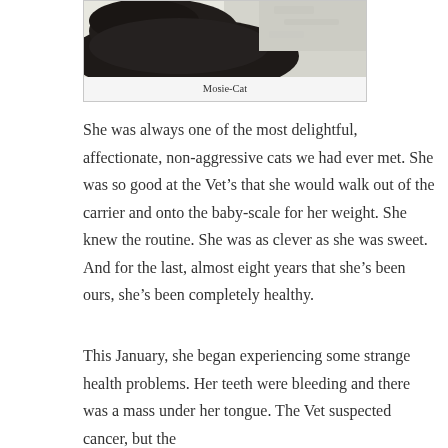[Figure (photo): Dark-colored cat (Mosie-Cat) photographed from above against a light stone or textured background]
Mosie-Cat
She was always one of the most delightful, affectionate, non-aggressive cats we had ever met. She was so good at the Vet’s that she would walk out of the carrier and onto the baby-scale for her weight. She knew the routine. She was as clever as she was sweet. And for the last, almost eight years that she’s been ours, she’s been completely healthy.
This January, she began experiencing some strange health problems. Her teeth were bleeding and there was a mass under her tongue. The Vet suspected cancer, but the